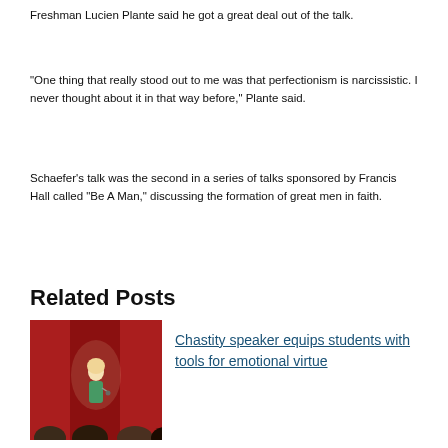Freshman Lucien Plante said he got a great deal out of the talk.
“One thing that really stood out to me was that perfectionism is narcissistic. I never thought about it in that way before,” Plante said.
Schaefer’s talk was the second in a series of talks sponsored by Francis Hall called “Be A Man,” discussing the formation of great men in faith.
Related Posts
[Figure (photo): A woman in a green dress speaking on a stage in front of red curtains, with audience members visible in the foreground]
Chastity speaker equips students with tools for emotional virtue